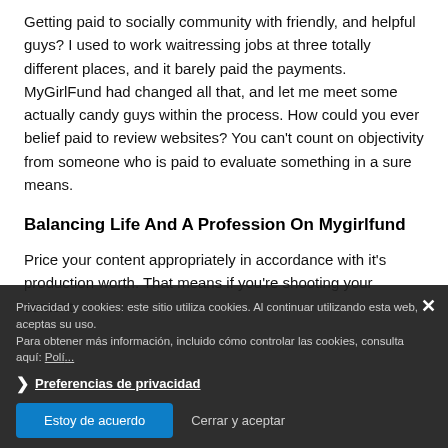Getting paid to socially community with friendly, and helpful guys? I used to work waitressing jobs at three totally different places, and it barely paid the payments. MyGirlFund had changed all that, and let me meet some actually candy guys within the process. How could you ever belief paid to review websites? You can't count on objectivity from someone who is paid to evaluate something in a sure means.
Balancing Life And A Profession On Mygirlfund
Price your content appropriately in accordance with it's production worth. That means if you're shooting your content
Privacidad y cookies: este sitio utiliza cookies. Al continuar utilizando esta web, aceptas su uso.
Para obtener más información, incluido cómo controlar las cookies, consulta aquí: Política de cookies
❯ Preferencias de privacidad
Estoy de acuerdo
Cerrar y aceptar